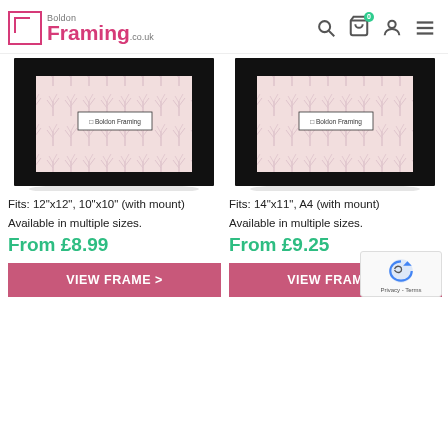Boldon Framing .co.uk — navigation header with search, cart, account, menu icons
[Figure (photo): Black picture frame with pink floral/tree pattern backing, showing Boldon Framing logo card inside — square format]
[Figure (photo): Black picture frame with pink floral/tree pattern backing, showing Boldon Framing logo card inside — rectangular/square format]
Fits: 12"x12", 10"x10" (with mount)
Fits: 14"x11", A4 (with mount)
Available in multiple sizes.
Available in multiple sizes.
From £8.99
From £9.25
VIEW FRAME >
VIEW FRAME >